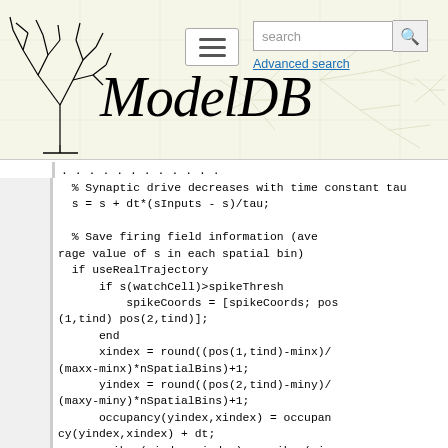ModelDB — Advanced search
% Synaptic drive decreases with time constant tau
  s = s + dt*(sInputs - s)/tau;

  % Save firing field information (average value of s in each spatial bin)
  if useRealTrajectory
      if s(watchCell)>spikeThresh
          spikeCoords = [spikeCoords; pos(1,tind) pos(2,tind)];
      end
      xindex = round((pos(1,tind)-minx)/(maxx-minx)*nSpatialBins)+1;
      yindex = round((pos(2,tind)-miny)/(maxy-miny)*nSpatialBins)+1;
      occupancy(yindex,xindex) = occupancy(yindex,xindex) + dt;
      spikes(yindex,xindex) = spikes(yindex,xindex) + s(watchCell);